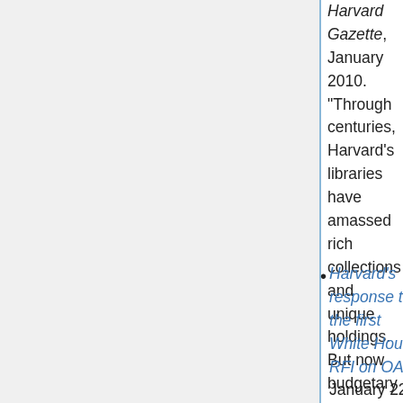Harvard Gazette, January 2010. "Through centuries, Harvard's libraries have amassed rich collections and unique holdings. But now budgetary pressures that have been building during the past decade, and intensified in the past year, threaten the ability of the world's largest private library to collect works as broadly as it has in the past. In an interview, University Library director and Pforzheimer University Professor Robert Darnton called the situation 'a crisis in acquisitions.' "
Harvard's response to the first White House RFI on OA, January 22, 2010. "Harvard University...is not immune to the